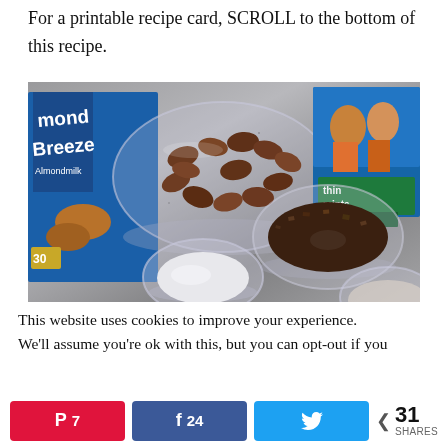For a printable recipe card, SCROLL to the bottom of this recipe.
[Figure (photo): Overhead view of recipe ingredients on a granite countertop: a box of Almond Breeze almondmilk, a glass bowl of almonds, a bowl of crushed thin mint cookies (chocolate crumbs), a bowl of white powder, a partial bowl visible at bottom right, and a box of Girl Scout thin mints cookies in the background.]
This website uses cookies to improve your experience. We'll assume you're ok with this, but you can opt-out if you
7
24
31 SHARES